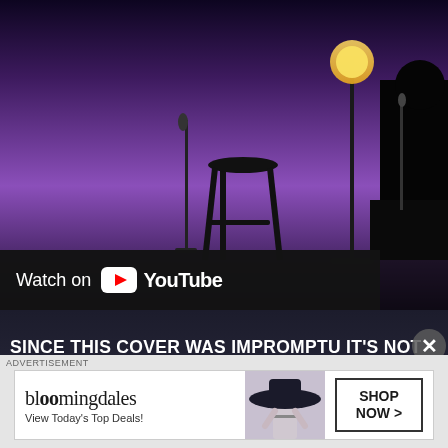[Figure (screenshot): YouTube video thumbnail showing a stage setup with a stool, microphone stands, and stage lighting against a purple background. A 'Watch on YouTube' overlay bar is visible at the bottom left of the video.]
SINCE THIS COVER WAS IMPROMPTU IT'S NOT PERFECT, BUT IT'S NONE-THE-LESS. LEA MICHELE HAS AN AMAZING VOCAL RANGE AND IF YOU'RE A FAN OF GLEE, YOU'LL KNOW THE WOMAN CAN SING! HER CHARACTER ON GLEE, RACHEL BERRY, WAS A YOUNG TEEN OBSESSED WITH MAKING IT BIG AS BARBRA STREISAND. SO, IT SEEMS LIKE LEA'S COME FULL CIRCLE AS SHE SANG ONE OF THE SONGS FROM THE REMAKE OF A STAR IS BO
[Figure (screenshot): Bloomingdale's advertisement banner. Shows the Bloomingdale's logo, tagline 'View Today's Top Deals!', a woman in a wide-brim hat, and a 'SHOP NOW >' button.]